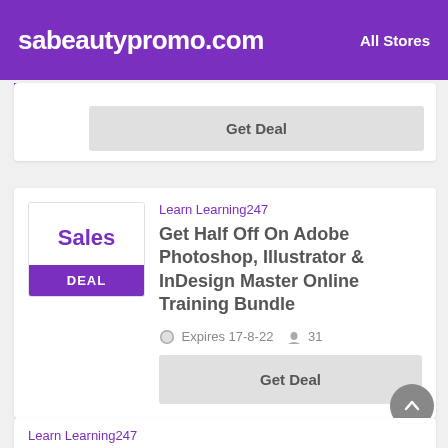sabeautypromo.com   All Stores
Get Deal
Learn Learning247
Get Half Off On Adobe Photoshop, Illustrator & InDesign Master Online Training Bundle
Expires 17-8-22   31
Get Deal
Learn Learning247